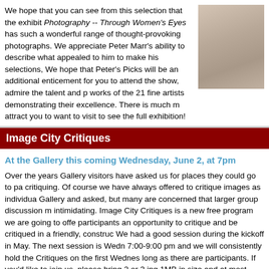We hope that you can see from this selection that the exhibit Photography -- Through Women's Eyes has such a wonderful range of thought-provoking photographs. We appreciate Peter Marr's ability to describe what appealed to him to make his selections, We hope that Peter's Picks will be an additional enticement for you to attend the show, admire the talent and p works of the 21 fine artists demonstrating their excellence. There is much m attract you to want to visit to see the full exhibition!
[Figure (photo): Partial photo of a person visible in the top-right corner of the page, cropped.]
Image City Critiques
At the Gallery this coming Wednesday, June 2, at 7pm
Over the years Gallery visitors have asked us for places they could go to pa critiquing. Of course we have always offered to critique images as individua Gallery and asked, but many are concerned that larger group discussion m intimidating. Image City Critiques is a new free program we are going to offe participants an opportunity to critique and be critiqued in a friendly, construc We had a good session during the kickoff in May. The next session is Wedn 7:00-9:00 pm and we will consistently hold the Critiques on the first Wednes long as there are participants. If you'd like to join us, please bring 2 or 3 jpg 1MB in size and at most 1500 pixels on the longest side. You may also brin CD, or on a thumb drive. If you have any questions please contact Don Me (dmenges@rochester.rr.com) or Gil Maker (gmaker@mac.com). We look f on June 2nd at 7pm.
Gary Thompson's Photo Tip of the Month